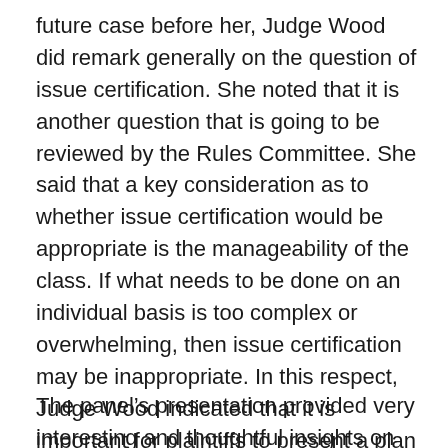future case before her, Judge Wood did remark generally on the question of issue certification. She noted that it is another question that is going to be reviewed by the Rules Committee. She said that a key consideration as to whether issue certification would be appropriate is the manageability of the class. If what needs to be done on an individual basis is too complex or overwhelming, then issue certification may be inappropriate. In this respect, Judge Wood indicated that it is important for plaintiffs to present a plan that demonstrates that the case is manageable. It is insufficient for plaintiffs simply to provide assurances that it can be done.
The panel's presentation provided very interesting and thoughtful insights on the current and future